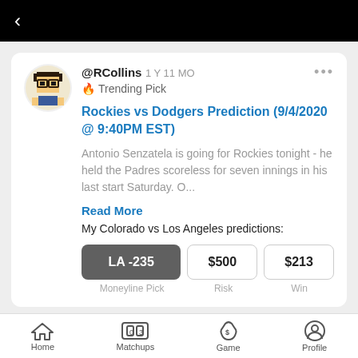< (back arrow)
@RCollins 1 Y 11 MO
🔥 Trending Pick
Rockies vs Dodgers Prediction (9/4/2020 @ 9:40PM EST)
Antonio Senzatela is going for Rockies tonight - he held the Padres scoreless for seven innings in his last start Saturday. O...
Read More
My Colorado vs Los Angeles predictions:
| Moneyline Pick | Risk | Win |
| --- | --- | --- |
| LA -235 | $500 | $213 |
Home | Matchups | Game | Profile